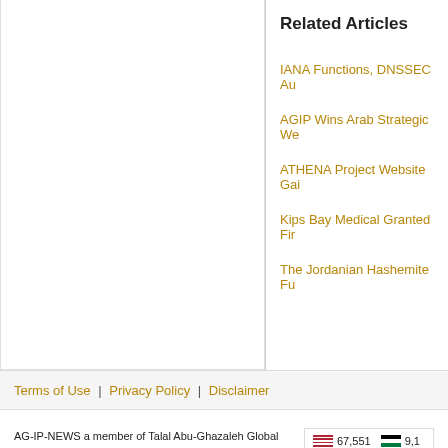Related Articles
IANA Functions, DNSSEC Au…
AGIP Wins Arab Strategic We…
ATHENA Project Website Gai…
Kips Bay Medical Granted Fir…
The Jordanian Hashemite Fu…
Terms of Use | Privacy Policy | Disclaimer
AG-IP-NEWS a member of Talal Abu-Ghazaleh Global
Copyright © 2022 ag-ip-news All Rights Reserved
Powered By: Talal Abu-Ghazaleh Global
67,551  9,1…
12,151  8,7…